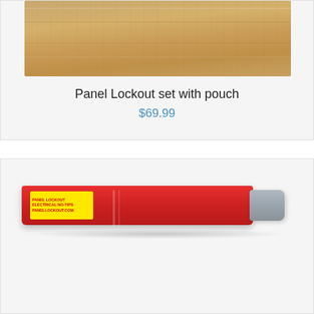[Figure (photo): Top portion of product listing showing a brown/tan colored pouch or bag item on white background]
Panel Lockout set with pouch
$69.99
[Figure (photo): Panel lockout tool with red body and grey end cap, featuring a yellow label reading PANEL LOCKOUT, ELECTRICAL NO-TIPS, PANELLOCKOUT.COM]